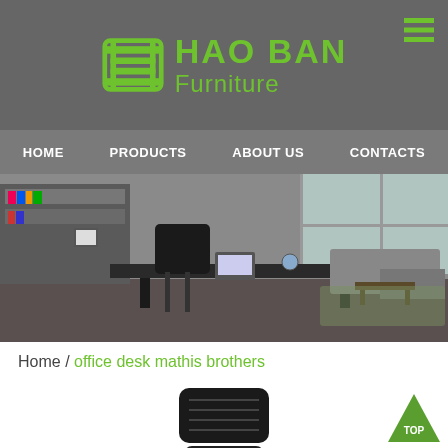[Figure (logo): Hao Ban Furniture logo with green furniture icon and green text on gray background]
[Figure (screenshot): Navigation bar with links: HOME, PRODUCTS, ABOUT US, CONTACTS on gray background]
[Figure (photo): Office furniture showroom photo showing executive desk, chair, bookshelf, and lounge area]
Home / office desk mathis brothers
[Figure (photo): Black mesh ergonomic office chair viewed from behind, showing lumbar support and armrests]